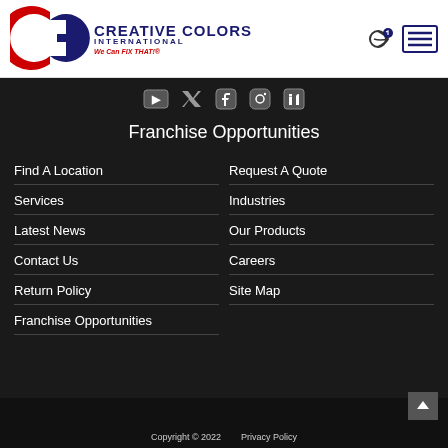[Figure (logo): Creative Colors International logo with red and blue CCI emblem and tagline 'We Can FIX THAT!']
[Figure (other): Social media icons: YouTube, Twitter, Facebook, Instagram, LinkedIn]
Franchise Opportunities
Find A Location
Request A Quote
Services
Industries
Latest News
Our Products
Contact Us
Careers
Return Policy
Site Map
Franchise Opportunities
Copyright © 2022   Privacy Policy